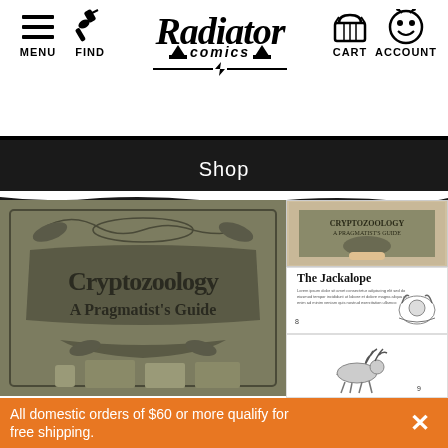[Figure (screenshot): Radiator Comics website header with navigation icons: hamburger menu, find/search icon, Radiator Comics logo in center, cart icon, account icon]
Shop
[Figure (photo): Large product image showing book cover 'Cryptozoology: A Pragmatist's Guide' on olive/gray background with ornate decorative border and gothic lettering]
[Figure (photo): Thumbnail 1: small book cover of Cryptozoology held in hand]
[Figure (photo): Thumbnail 2: interior page showing 'The Jackalope' with illustration of a jackalope creature]
[Figure (photo): Thumbnail 3: interior page showing illustration of a running jackalope/deer creature, page 9]
All domestic orders of $60 or more qualify for free shipping.